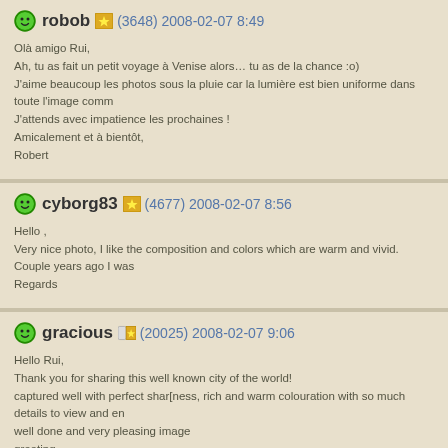robob (3648) 2008-02-07 8:49
Olà amigo Rui,
Ah, tu as fait un petit voyage à Venise alors… tu as de la chance :o)
J'aime beaucoup les photos sous la pluie car la lumière est bien uniforme dans toute l'image comm
J'attends avec impatience les prochaines !
Amicalement et à bientôt,
Robert
cyborg83 (4677) 2008-02-07 8:56
Hello ,
Very nice photo, I like the composition and colors which are warm and vivid. Couple years ago I was
Regards
gracious (20025) 2008-02-07 9:06
Hello Rui,
Thank you for sharing this well known city of the world!
captured well with perfect shar[ness, rich and warm colouration with so much details to view and en
well done and very pleasing image
greeting
Tony